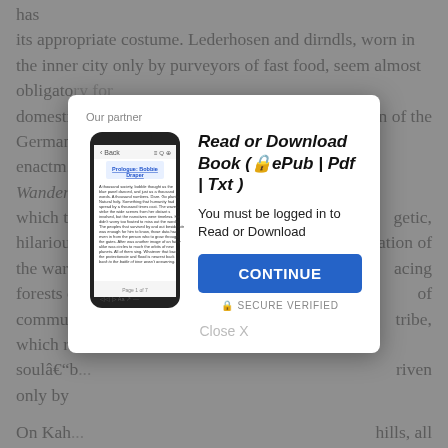has its appropriate costume. Lederhosen and dirndls, worn in the inner city only by purveyors of fast food, seem almost obligato... domestic... n of the German... enactm... Wander... which to... getic, hilarious... ration of the war... acing forests ... of commu... tribe, which re... soulâb... riven only by...
[Figure (screenshot): A modal dialog overlay on a grayed-out book text page. The modal has 'Our partner' label at top left, a smartphone illustration showing an e-book reading app with 'Prologue: Bobbie Draper' text, and on the right: bold italic title 'Read or Download Book (🔒ePub | Pdf | Txt )', subtitle 'You must be logged in to Read or Download', a blue CONTINUE button, a SECURE VERIFIED label with lock icon, and a 'Close X' link at the bottom.]
On Kah... hills, all is peace and contentment. The couples strolling arm in arm do not seem to be driven by the demons of the blood. Yet beneath the amiable holiday mood, an urban pastorale